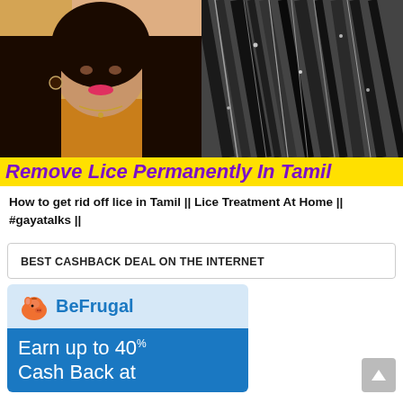[Figure (photo): Split thumbnail image: left half shows a woman with long black hair wearing an orange outfit with earrings and a necklace; right half shows a close-up of black hair with white highlights/lice eggs visible.]
Remove Lice Permanently In Tamil
How to get rid off lice in Tamil || Lice Treatment At Home || #gayatalks ||
BEST CASHBACK DEAL ON THE INTERNET
[Figure (advertisement): BeFrugal advertisement banner. Top section has light blue background with an orange pig piggy bank icon and the text 'BeFrugal' in blue. Bottom section has a blue background with white text reading 'Earn up to 40% Cash Back at' (text cut off).]